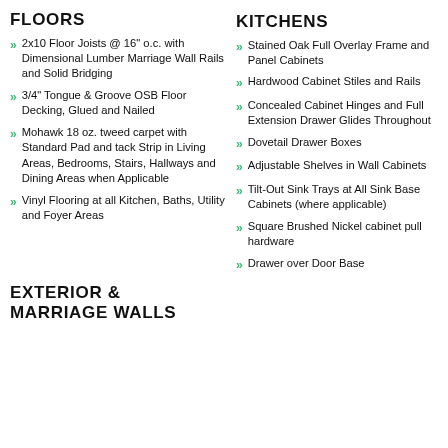FLOORS
2x10 Floor Joists @ 16" o.c. with Dimensional Lumber Marriage Wall Rails and Solid Bridging
3/4" Tongue & Groove OSB Floor Decking, Glued and Nailed
Mohawk 18 oz. tweed carpet with Standard Pad and tack Strip in Living Areas, Bedrooms, Stairs, Hallways and Dining Areas when Applicable
Vinyl Flooring at all Kitchen, Baths, Utility and Foyer Areas
KITCHENS
Stained Oak Full Overlay Frame and Panel Cabinets
Hardwood Cabinet Stiles and Rails
Concealed Cabinet Hinges and Full Extension Drawer Glides Throughout
Dovetail Drawer Boxes
Adjustable Shelves in Wall Cabinets
Tilt-Out Sink Trays at All Sink Base Cabinets (where applicable)
Square Brushed Nickel cabinet pull hardware
Drawer over Door Base Cabinet Doors
EXTERIOR & MARRIAGE WALLS